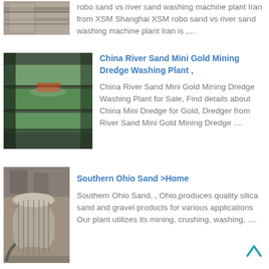[Figure (photo): Partial view of industrial metal equipment, top-left corner of page]
robo sand vs river sand washing machine plant Iran from XSM Shanghai XSM robo sand vs river sand washing machine plant Iran is ,...
[Figure (photo): Green metal sluice or shaker table machinery, industrial setting]
China River Sand Mini Gold Mining Dredge Washing Plant , 

China River Sand Mini Gold Mining Dredge Washing Plant for Sale, Find details about China Mini Dredge for Gold, Dredger from River Sand Mini Gold Mining Dredge ....
[Figure (photo): Cylindrical metal drum/screen component on a concrete floor in an industrial facility]
Southern Ohio Sand >Home

Southern Ohio Sand, , Ohio,produces quality silica sand and gravel products for various applications Our plant utilizes its mining, crushing, washing, ....